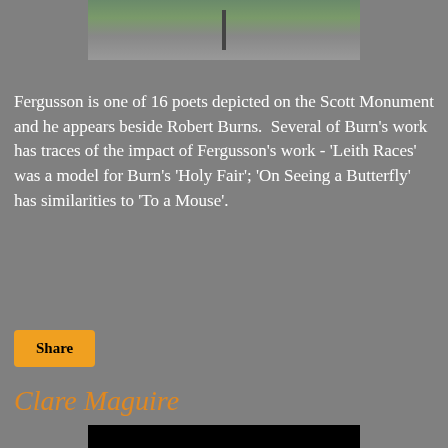[Figure (photo): Partial view of a grave or monument in a cemetery with gravel and greenery visible, a plaque or sign mounted on a post]
Fergusson is one of 16 poets depicted on the Scott Monument and he appears beside Robert Burns.  Several of Burn's work has traces of the impact of Fergusson's work - 'Leith Races' was a model for Burn's 'Holy Fair'; 'On Seeing a Butterfly' has similarities to 'To a Mouse'.
Share
Clare Maguire
[Figure (photo): Partial black rectangle at the bottom of the page, presumably the top of another photo]